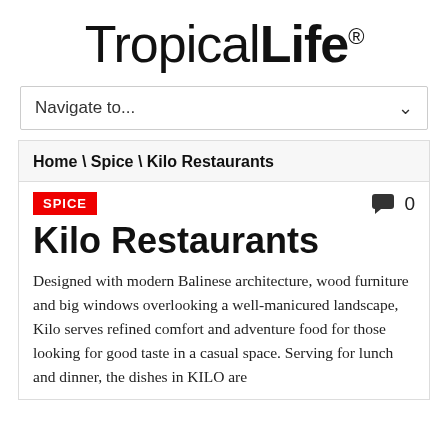[Figure (logo): TropicalLife magazine logo in large bold serif/sans text with registered trademark symbol]
Navigate to...
Home \ Spice \ Kilo Restaurants
Kilo Restaurants
Designed with modern Balinese architecture, wood furniture and big windows overlooking a well-manicured landscape, Kilo serves refined comfort and adventure food for those looking for good taste in a casual space. Serving for lunch and dinner, the dishes in KILO are